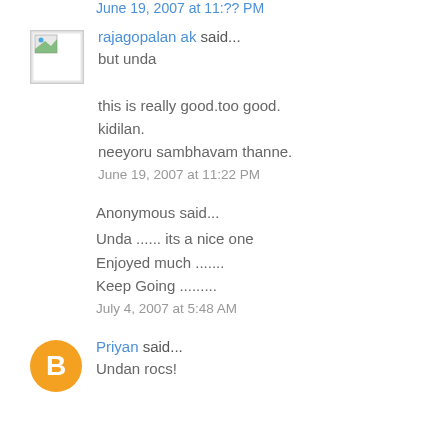June 19, 2007 at 11:?? PM
rajagopalan ak said...
but unda

this is really good.too good. kidilan.
neeyoru sambhavam thanne.
June 19, 2007 at 11:22 PM
Anonymous said...
Unda ...... its a nice one
Enjoyed much .......
Keep Going .........
July 4, 2007 at 5:48 AM
Priyan said...
Undan rocs!